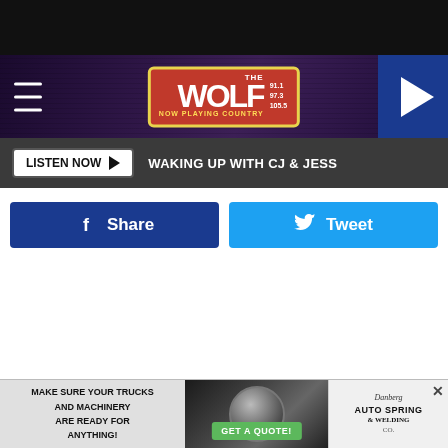[Figure (screenshot): Black top bar at top of page]
[Figure (logo): The Wolf radio station header with logo (91.1, 97.3, 105.5), hamburger menu, and play button]
LISTEN NOW ▶  WAKING UP WITH CJ & JESS
[Figure (other): Facebook Share button and Twitter Tweet button row]
Pat: How you doing guys?
[Figure (other): Advertisement: MAKE SURE YOUR TRUCKS AND MACHINERY ARE READY FOR ANYTHING! GET A QUOTE! Danberg Auto Spring & Welding Co.]